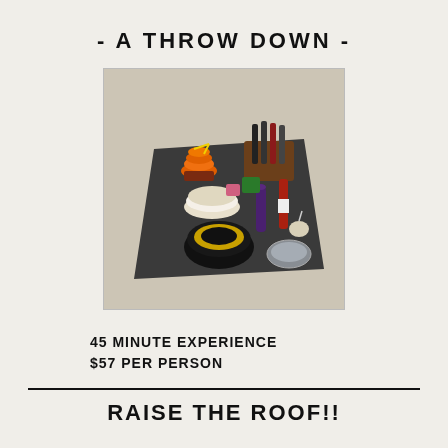- A THROW DOWN -
[Figure (photo): Overhead view of a dark table covered with various ceramic bowls, dishes, decorative bottles, pottery pieces, and art objects including an orange stack, a black and gold bowl, purple bottle, and wine bottles in a wooden caddy.]
45 MINUTE EXPERIENCE
$57 PER PERSON
RAISE THE ROOF!!